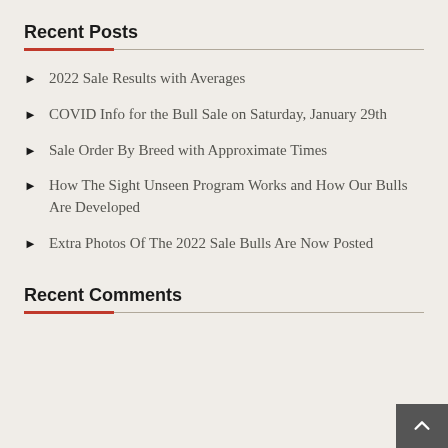Recent Posts
2022 Sale Results with Averages
COVID Info for the Bull Sale on Saturday, January 29th
Sale Order By Breed with Approximate Times
How The Sight Unseen Program Works and How Our Bulls Are Developed
Extra Photos Of The 2022 Sale Bulls Are Now Posted
Recent Comments